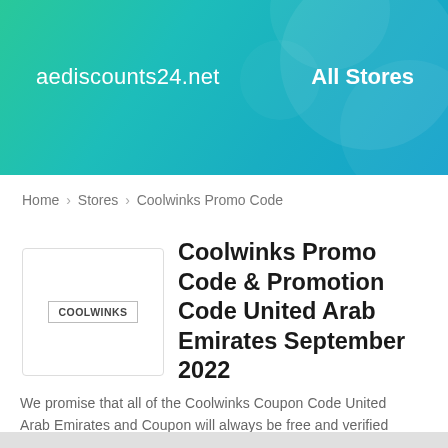aediscounts24.net   All Stores
Home > Stores > Coolwinks Promo Code
Coolwinks Promo Code & Promotion Code United Arab Emirates September 2022
We promise that all of the Coolwinks Coupon Code United Arab Emirates and Coupon will always be free and verified for all online shoppers. Store-wide Discount Code at Coolwinks...
[Figure (logo): Coolwinks logo in a bordered white box]
Go to Coolwinks